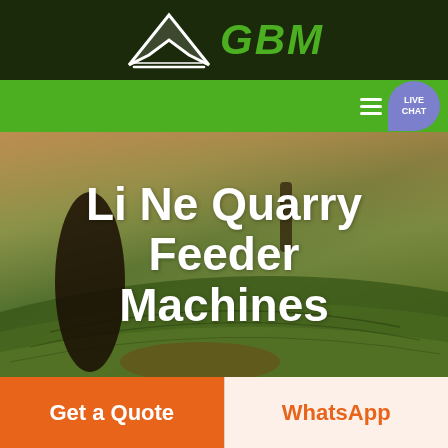GBM
[Figure (screenshot): GBM company website header with dark green background, white arrow logo, green GBM text, green navigation bar with hamburger menu and live chat bubble, hero background image of rolling agricultural fields with tree silhouettes]
Li Ne Quarry Feeder Machines
Get a Quote
WhatsApp